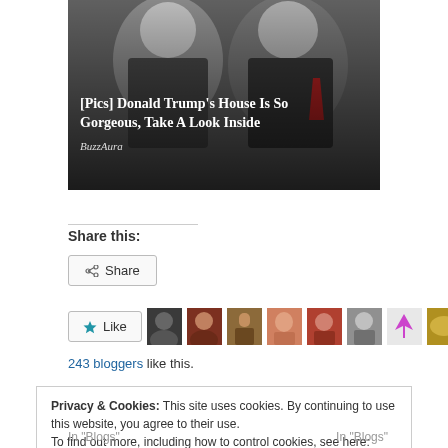[Figure (photo): Sponsored ad image showing two people, with overlay title '[Pics] Donald Trump's House Is So Gorgeous, Take A Look Inside' and source 'BuzzAura']
Share this:
Share
[Figure (infographic): Like button with star icon and row of blogger avatar thumbnails]
243 bloggers like this.
Privacy & Cookies: This site uses cookies. By continuing to use this website, you agree to their use.
To find out more, including how to control cookies, see here: Cookie Policy
Close and accept
In "Blogs"
In "Blogs"